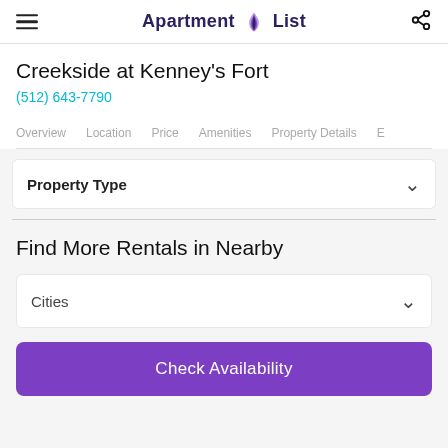Apartment List
Creekside at Kenney's Fort
(512) 643-7790
Overview
Location
Price
Amenities
Property Details
E
Property Type
Find More Rentals in Nearby
Cities
Check Availability